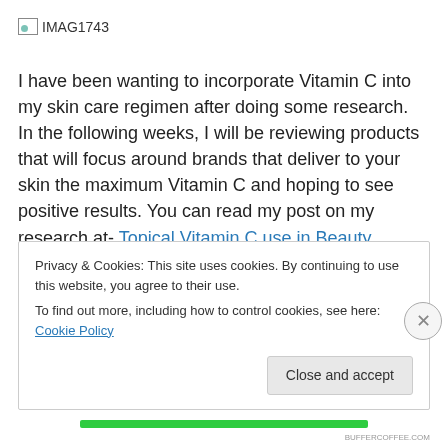[Figure (photo): Broken image placeholder with label IMAG1743]
I have been wanting to incorporate Vitamin C into my skin care regimen after doing some research.  In the following weeks, I will be reviewing products that will focus around brands that deliver to your skin the maximum Vitamin C and hoping to see positive results. You can read my post on my research at- Topical Vitamin C use in Beauty Products Research and Information
Privacy & Cookies: This site uses cookies. By continuing to use this website, you agree to their use.
To find out more, including how to control cookies, see here: Cookie Policy
Close and accept